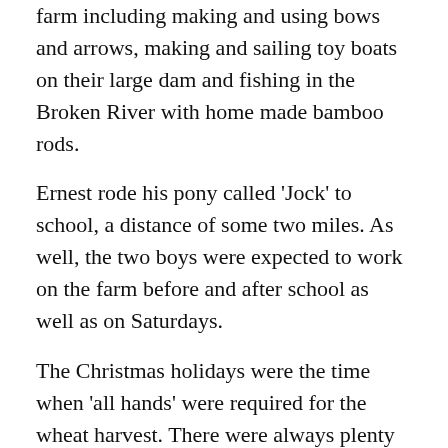farm including making and using bows and arrows, making and sailing toy boats on their large dam and fishing in the Broken River with home made bamboo rods.
Ernest rode his pony called 'Jock' to school, a distance of some two miles. As well, the two boys were expected to work on the farm before and after school as well as on Saturdays.
The Christmas holidays were the time when 'all hands' were required for the wheat harvest. There were always plenty of jobs to be done at this time of the year.
It included loading bags of wheat (they weighed 210